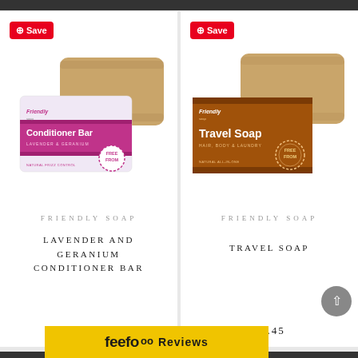[Figure (photo): Friendly Soap Conditioner Bar (Lavender & Geranium) product image showing soap bar with pink label]
FRIENDLY SOAP
LAVENDER AND GERANIUM CONDITIONER BAR
£4.45
[Figure (photo): Friendly Soap Travel Soap (Hair, Body & Laundry) product image showing soap bar with brown label]
FRIENDLY SOAP
TRAVEL SOAP
£2.45
feefo Reviews